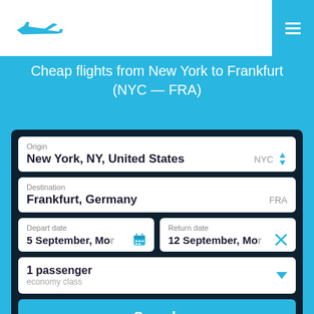[Figure (logo): Airplane logo icon in blue]
[Figure (other): Hamburger menu icon with three white horizontal lines on blue background]
Cheap flights from New York to Frankfurt (NYC — FRA)
Origin: New York, NY, United States | NYC
Destination: Frankfurt, Germany | FRA
Depart date: 5 September, Mo
Return date: 12 September, Mo
1 passenger
economy class
Search